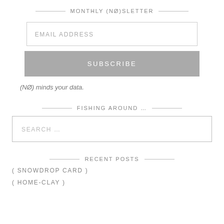MONTHLY (NØ)SLETTER
EMAIL ADDRESS
SUBSCRIBE
(NØ) minds your data.
FISHING AROUND …
SEARCH …
RECENT POSTS
( SNOWDROP CARD )
( HOME-CLAY )